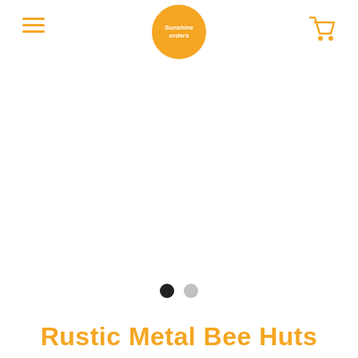Sunshine [logo] navigation header with hamburger menu and cart icon
[Figure (photo): Large white/blank product image area with two pagination dots below (one dark, one light gray) indicating an image carousel]
Rustic Metal Bee Huts